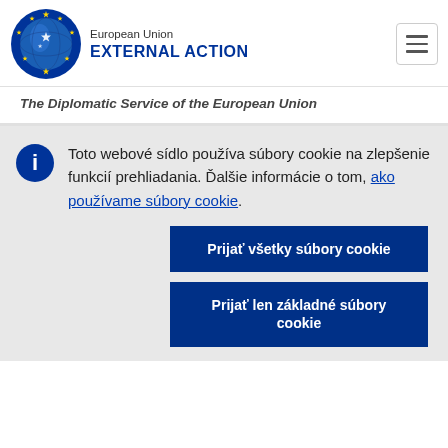[Figure (logo): European Union External Action logo with EU globe and stars emblem]
The Diplomatic Service of the European Union
Toto webové sídlo používa súbory cookie na zlepšenie funkcií prehliadania. Ďalšie informácie o tom, ako používame súbory cookie.
Prijať všetky súbory cookie
Prijať len základné súbory cookie